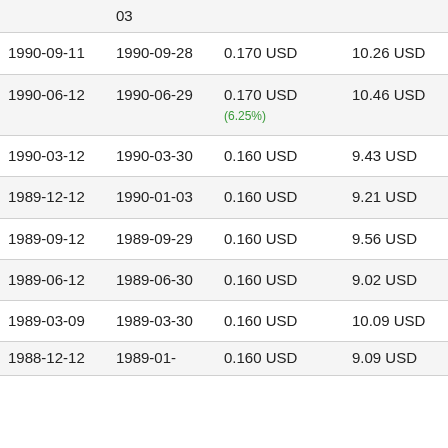|  |  |  |  |  |
| --- | --- | --- | --- | --- |
|  | 03 |  |  | USD |
| 1990-09-11 | 1990-09-28 | 0.170 USD | 10.26 USD | 23.88 USD |
| 1990-06-12 | 1990-06-29 | 0.170 USD (6.25%) | 10.46 USD | 24.50 USD |
| 1990-03-12 | 1990-03-30 | 0.160 USD | 9.43 USD | 22.25 USD |
| 1989-12-12 | 1990-01-03 | 0.160 USD | 9.21 USD | 21.88 USD |
| 1989-09-12 | 1989-09-29 | 0.160 USD | 9.56 USD | 22.88 USD |
| 1989-06-12 | 1989-06-30 | 0.160 USD | 9.02 USD | 21.75 USD |
| 1989-03-09 | 1989-03-30 | 0.160 USD | 10.09 USD | 24.50 USD |
| 1988-12-12 | 1989-01-... | 0.160 USD | 9.09 USD | 24.25 USD |